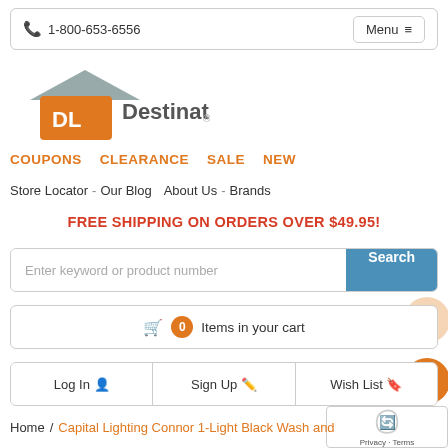1-800-653-6556  Menu
[Figure (logo): Destination Lighting logo with orange DL house icon and gray text]
COUPONS   CLEARANCE   SALE   NEW
Store Locator  -  Our Blog   About Us  -  Brands
FREE SHIPPING ON ORDERS OVER $49.95!
Enter keyword or product number  Search
0 Items in your cart
Log In   Sign Up   Wish List
Home / Capital Lighting Connor 1-Light Black Wash and